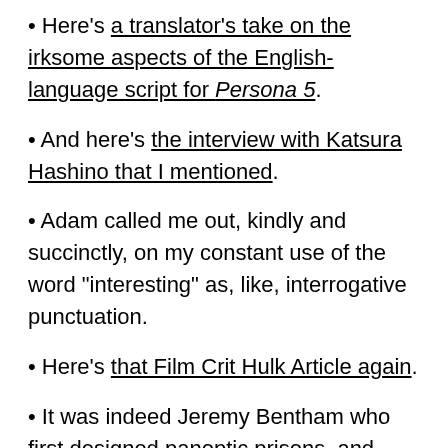Here's a translator's take on the irksome aspects of the English-language script for Persona 5.
And here's the interview with Katsura Hashino that I mentioned.
Adam called me out, kindly and succinctly, on my constant use of the word “interesting” as, like, interrogative punctuation.
Here's that Film Crit Hulk Article again.
It was indeed Jeremy Bentham who first designed panoptic prisons, and who wrote about the Panopticon as “A new mode of